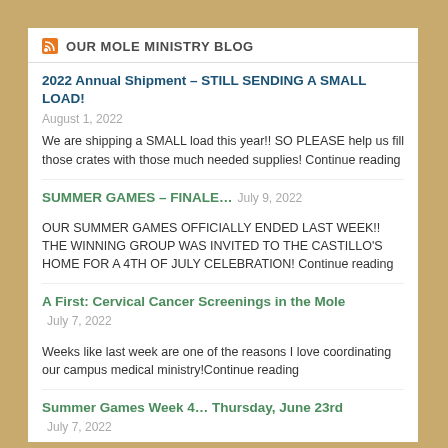OUR MOLE MINISTRY BLOG
2022 Annual Shipment – STILL SENDING A SMALL LOAD!
August 1, 2022
We are shipping a SMALL load this year!! SO PLEASE help us fill those crates with those much needed supplies! Continue reading
SUMMER GAMES – FINALE… July 9, 2022
OUR SUMMER GAMES OFFICIALLY ENDED LAST WEEK!! THE WINNING GROUP WAS INVITED TO THE CASTILLO'S HOME FOR A 4TH OF JULY CELEBRATION! Continue reading
A First: Cervical Cancer Screenings in the Mole July 7, 2022
Weeks like last week are one of the reasons I love coordinating our campus medical ministry!Continue reading
Summer Games Week 4… Thursday, June 23rd July 7, 2022